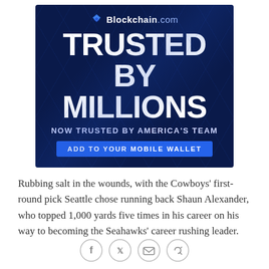[Figure (infographic): Blockchain.com advertisement banner with dark navy blue background and geometric line pattern. Contains logo, 'TRUSTED BY MILLIONS' headline, 'NOW TRUSTED BY AMERICA'S TEAM' subheading, and 'ADD TO YOUR MOBILE WALLET' call-to-action button in blue.]
Rubbing salt in the wounds, with the Cowboys' first-round pick Seattle chose running back Shaun Alexander, who topped 1,000 yards five times in his career on his way to becoming the Seahawks' career rushing leader.